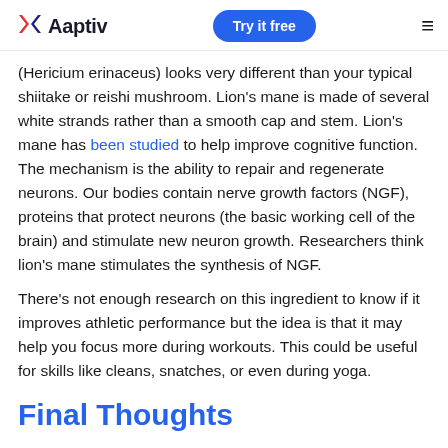Aaptiv | Try it free
(Hericium erinaceus) looks very different than your typical shiitake or reishi mushroom. Lion's mane is made of several white strands rather than a smooth cap and stem. Lion's mane has been studied to help improve cognitive function. The mechanism is the ability to repair and regenerate neurons. Our bodies contain nerve growth factors (NGF), proteins that protect neurons (the basic working cell of the brain) and stimulate new neuron growth. Researchers think lion's mane stimulates the synthesis of NGF.
There's not enough research on this ingredient to know if it improves athletic performance but the idea is that it may help you focus more during workouts. This could be useful for skills like cleans, snatches, or even during yoga.
Final Thoughts